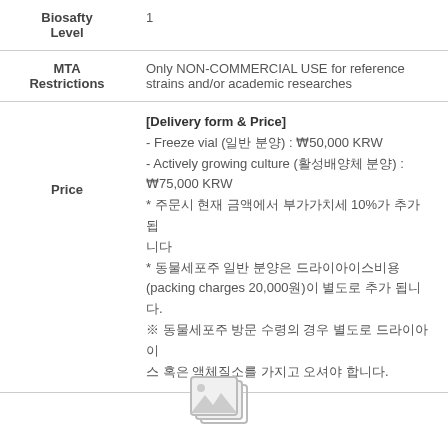| Field | Value |
| --- | --- |
| Biosafty Level | 1 |
| MTA Restrictions | Only NON-COMMERCIAL USE for reference strains and/or academic researches |
| Price | [Delivery form & Price]
- Freeze vial (일반 분양) : ₩50,000 KRW
- Actively growing culture (활성배양체 분양) : ₩75,000 KRW
* 주문시 현재 금액에서 부가가치세 10%가 추가 됩니다
* 동물세포주 일반 분양은 드라이아이스비용 (packing charges 20,000원)이 별도로 추가 됩니다.
※ 동물세포주 방문 수령의 경우 별도로 드라이아이스 혹은 액체질소를 가지고 오셔야 합니다. |
[Figure (illustration): Placeholder image icon at bottom of page]